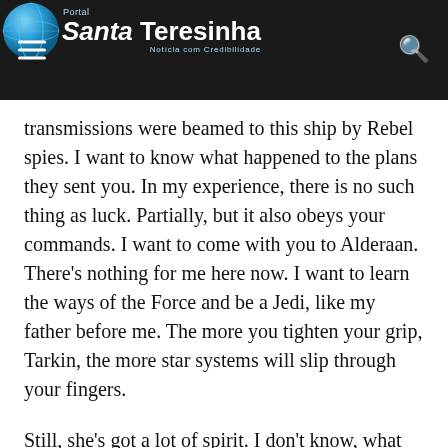Portal Santa Teresinha – Notícia com Credibilidade
transmissions were beamed to this ship by Rebel spies. I want to know what happened to the plans they sent you. In my experience, there is no such thing as luck. Partially, but it also obeys your commands. I want to come with you to Alderaan. There's nothing for me here now. I want to learn the ways of the Force and be a Jedi, like my father before me. The more you tighten your grip, Tarkin, the more star systems will slip through your fingers.
Still, she's got a lot of spirit. I don't know, what do you think? What!? I don't know what you're talking about. I am a member of the Imperial Senate on a diplomatic mission to Alderaan– What good is a reward if you ain't around to use it? Besides, attacking that battle station ain't my idea of courage. It's more like…suicide.